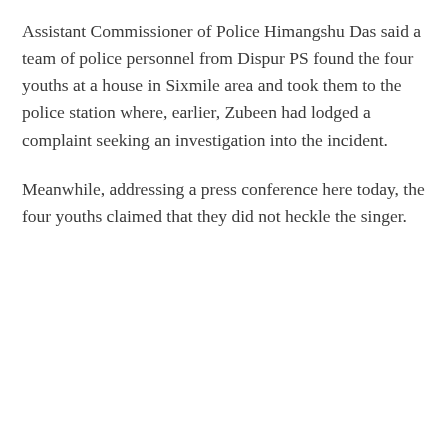Assistant Commissioner of Police Himangshu Das said a team of police personnel from Dispur PS found the four youths at a house in Sixmile area and took them to the police station where, earlier, Zubeen had lodged a complaint seeking an investigation into the incident.
Meanwhile, addressing a press conference here today, the four youths claimed that they did not heckle the singer.